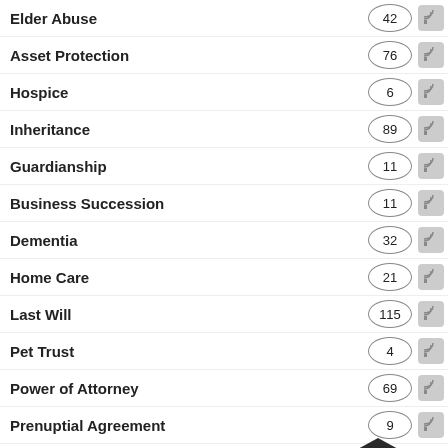Elder Abuse
Asset Protection
Hospice
Inheritance
Guardianship
Business Succession
Dementia
Home Care
Last Will
Pet Trust
Power of Attorney
Prenuptial Agreement
Incapacity
Blended Family
Advanced Directives